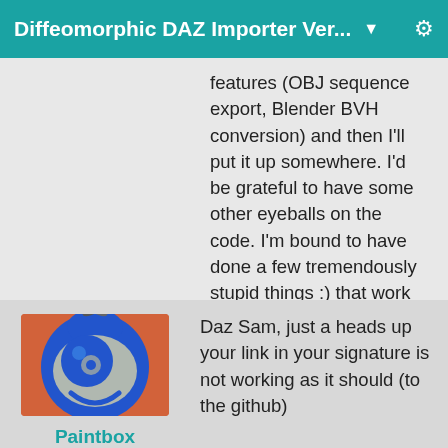Diffeomorphic DAZ Importer Ver...
features (OBJ sequence export, Blender BVH conversion) and then I'll put it up somewhere. I'd be grateful to have some other eyeballs on the code. I'm bound to have done a few tremendously stupid things :) that work but by the grace of god.
[Figure (illustration): Avatar icon for user Paintbox: blue cartoon pirate/cyclops character on orange-red background]
Paintbox
Daz Sam, just a heads up your link in your signature is not working as it should (to the github)